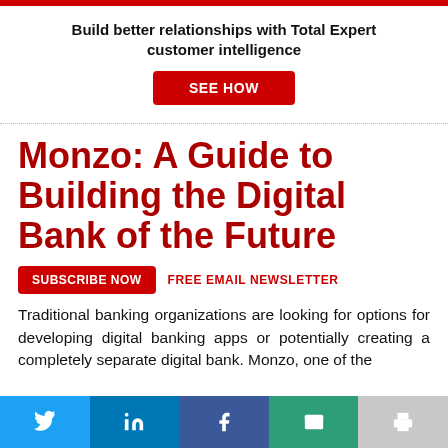Build better relationships with Total Expert customer intelligence
[Figure (other): Red 'SEE HOW' call-to-action button]
Monzo: A Guide to Building the Digital Bank of the Future
[Figure (other): Red 'SUBSCRIBE NOW' button and 'FREE EMAIL NEWSLETTER' text]
Traditional banking organizations are looking for options for developing digital banking apps or potentially creating a completely separate digital bank. Monzo, one of the
[Figure (other): Social sharing bar with Twitter, LinkedIn, Facebook, Email, and Print buttons]